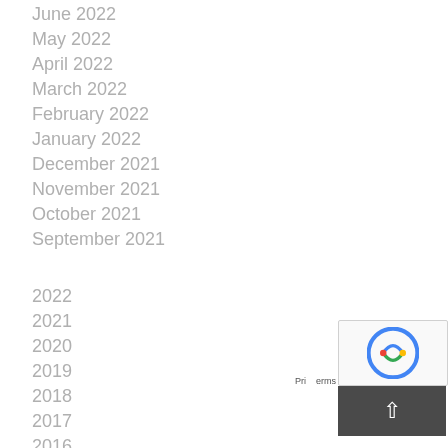June 2022
May 2022
April 2022
March 2022
February 2022
January 2022
December 2021
November 2021
October 2021
September 2021
2022
2021
2020
2019
2018
2017
2016
2015
2014